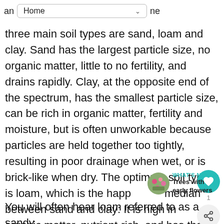an Home ne
three main soil types are sand, loam and clay. Sand has the largest particle size, no organic matter, little to no fertility, and drains rapidly. Clay, at the opposite end of the spectrum, has the smallest particle size, can be rich in organic matter, fertility and moisture, but is often unworkable because particles are held together too tightly, resulting in poor drainage when wet, or is brick-like when dry. The optimum soil type is loam, which is the happy median between sand and clay: It is high in organic matter, nutrient-rich, and has the perfect water holding capacity.
You will often hear loam referred to as a sandy